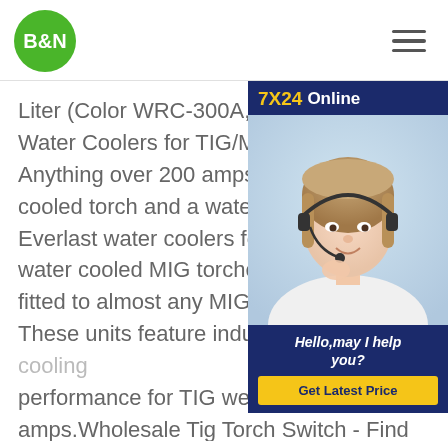B&N
Liter (Color WRC-300A, Size 220V) - - Water Coolers for TIG/MIG Welding Ma Anything over 200 amps of output requ cooled torch and a watercooler for TIG Everlast water coolers for welding can water cooled MIG torches cool as well fitted to almost any MIG gun or TIG we These units feature industrial level water cooling performance for TIG welders up to 350 amps.Wholesale Tig Torch Switch - Find Reliable Tig Torch CE Certificate Water Cooling System for The Torch TIGTIG Cooler 25L TIG Water Cooler 110V Water Cooled TIG Torch 370W TIG Torch Water
[Figure (other): Customer support advertisement widget with '7X24 Online' heading in yellow and white on dark navy background, photo of female customer service representative wearing headset, text 'Hello, may I help you?' and yellow 'Get Latest Price' button]